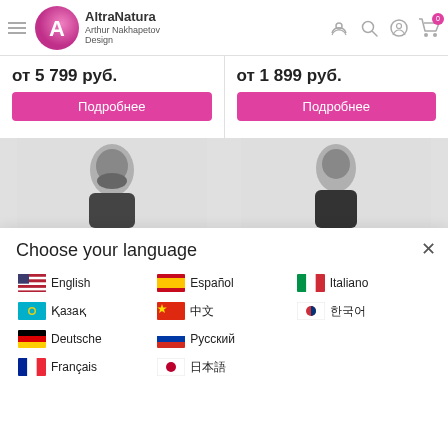[Figure (logo): AltraNatura Arthur Nakhapetov Design logo with stylized A icon]
от 5 799 руб.
Подробнее
от 1 899 руб.
Подробнее
[Figure (photo): Person with beard wearing dark top]
[Figure (photo): Person with short hair wearing dark top]
Choose your language
English
Español
Italiano
Қазақ
中文
한국어
Deutsche
Русский
Français
日本語